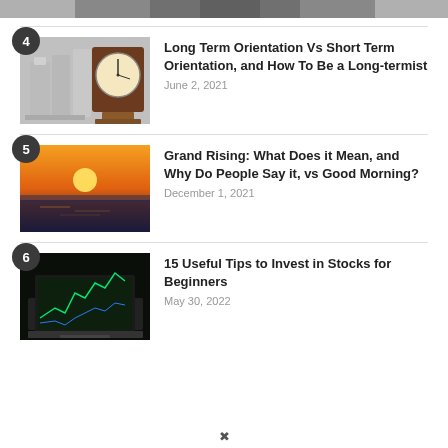[Figure (photo): Partial top image banner showing people]
4 – Long Term Orientation Vs Short Term Orientation, and How To Be a Long-termist – June 2, 2021
5 – Grand Rising: What Does it Mean, and Why Do People Say it, vs Good Morning? – December 1, 2021
6 – 15 Useful Tips to Invest in Stocks for Beginners – May 30, 2022